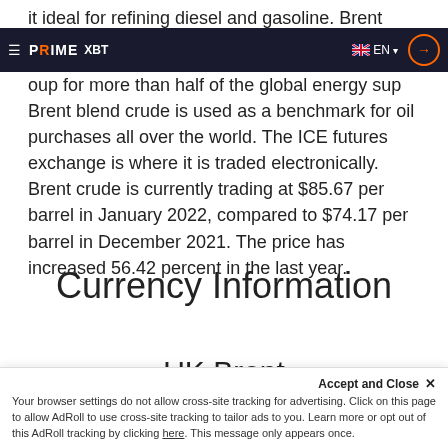it ideal for refining diesel and gasoline. Brent crude oil
PrimeXBT — EN
purchases all over the world. The ICE futures exchange is where it is traded electronically. Brent crude is currently trading at $85.67 per barrel in January 2022, compared to $74.17 per barrel in December 2021. The price has increased 56.42 percent in the last year.
Currency Information
UK Brent
Your browser settings do not allow cross-site tracking for advertising. Click on this page to allow AdRoll to use cross-site tracking to tailor ads to you. Learn more or opt out of this AdRoll tracking by clicking here. This message only appears once.